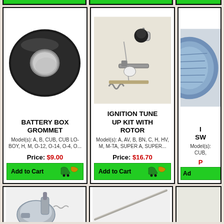[Figure (photo): Top strip showing bottom edges of three product cards from above, with green Add to Cart buttons partially visible]
[Figure (photo): Rubber donut/ring shaped battery box grommet, black, viewed from above]
BATTERY BOX GROMMET
Model(s): A, B, CUB, CUB LO-BOY, H, M, O-12, O-14, O-4, O...
Price: $9.00
Add to Cart
[Figure (photo): Ignition tune up kit with rotor parts including points, condenser, and rotor on light background]
IGNITION TUNE UP KIT WITH ROTOR
Model(s): A, AV, B, BN, C, H, HV, M, M-TA, SUPER A, SUPER...
Price: $16.70
Add to Cart
[Figure (photo): Partial view of a third product (blue/silver part) on right side, partially cropped]
I SW
Model(s): CUB,
P
Ad
[Figure (photo): Bottom row showing partial view of three more product images: a metal carburetor/fuel part, a long thin rod/wire, and a partial third item]
[Figure (photo): Metal fuel sediment bowl or carburetor part, silver/chrome colored]
[Figure (photo): Long thin metal rod or wire, diagonal]